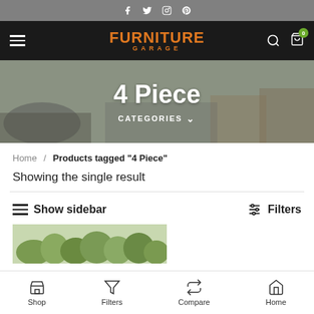Social media icons: Facebook, Twitter, Instagram, Pinterest
[Figure (logo): Furniture Garage logo with hamburger menu, search icon, and cart icon showing 0 items]
[Figure (photo): Hero banner with living room furniture background, title '4 Piece' and CATEGORIES dropdown]
Home / Products tagged “4 Piece”
Showing the single result
Show sidebar   Filters
[Figure (photo): Partial product image showing green plants/foliage]
Shop  Filters  Compare  Home